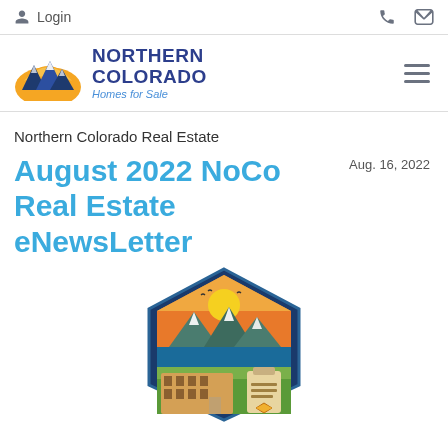Login
[Figure (logo): Northern Colorado Homes for Sale logo with mountain and sun icon]
Northern Colorado Real Estate
August 2022 NoCo Real Estate eNewsLetter
Aug. 16, 2022
[Figure (illustration): Colorado-themed badge/emblem illustration with mountains, snow-capped peaks, a house, real estate documents, and a diamond symbol, in vibrant colors]